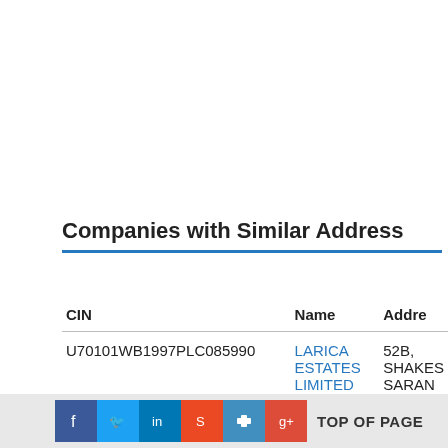Companies with Similar Address
| CIN | Name | Address |
| --- | --- | --- |
| U70101WB1997PLC085990 | LARICA ESTATES LIMITED | 52B, SHAKES SARAN |
TOP OF PAGE